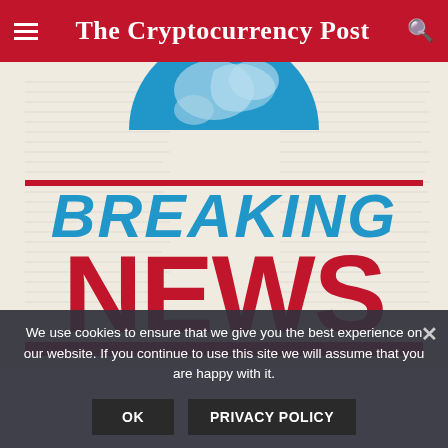The Cryptocurrency Post
[Figure (illustration): Breaking News graphic: newspaper background with globe icon in blue and 'BREAKING NEWS' text, 'BREAKING' in blue bold italic and 'NEWS' in large red bold letters]
We use cookies to ensure that we give you the best experience on our website. If you continue to use this site we will assume that you are happy with it.
OK   PRIVACY POLICY